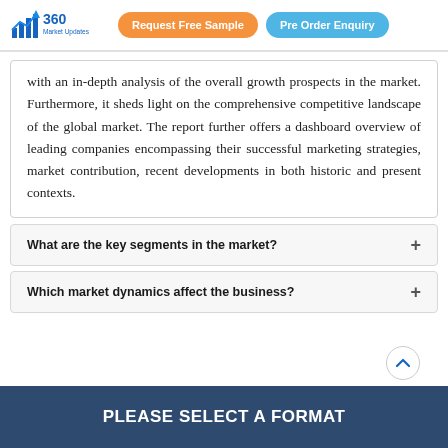360 Market Updates | Request Free Sample | Pre Order Enquiry
with an in-depth analysis of the overall growth prospects in the market. Furthermore, it sheds light on the comprehensive competitive landscape of the global market. The report further offers a dashboard overview of leading companies encompassing their successful marketing strategies, market contribution, recent developments in both historic and present contexts.
What are the key segments in the market?
Which market dynamics affect the business?
PLEASE SELECT A FORMAT